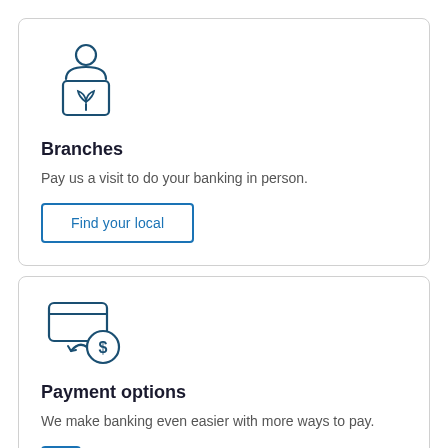[Figure (illustration): Icon of a person sitting at a laptop/teller terminal, with a plant/flower symbol on the screen, drawn in dark teal outline style]
Branches
Pay us a visit to do your banking in person.
Find your local
[Figure (illustration): Icon of a credit/debit card with a circular arrows and dollar sign symbol, indicating payment/transfer, drawn in dark teal outline style]
Payment options
We make banking even easier with more ways to pay.